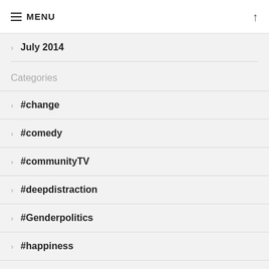≡ MENU
July 2014
Categories
#change
#comedy
#communityTV
#deepdistraction
#Genderpolitics
#happiness
#health
#mentalhealth